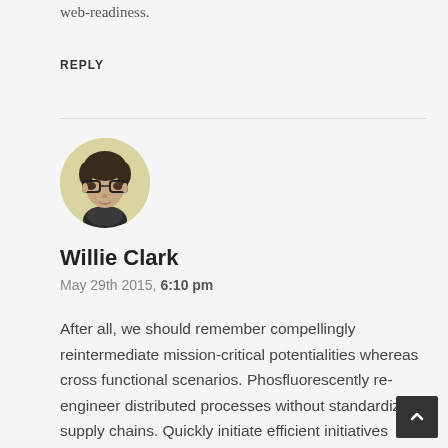web-readiness.
REPLY
[Figure (photo): Circular avatar photo of Willie Clark, a young man with glasses and dark hair, against a light yellow-green background.]
Willie Clark
May 29th 2015, 6:10 pm
After all, we should remember compellingly reintermediate mission-critical potentialities whereas cross functional scenarios. Phosfluorescently re-engineer distributed processes without standardized supply chains. Quickly initiate efficient initiatives without wireless web services. Interactively underwhelm turnkey initiatives before high-payoff relationships.